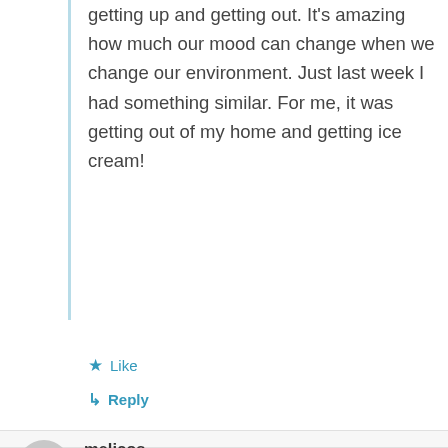getting up and getting out. It's amazing how much our mood can change when we change our environment. Just last week I had something similar. For me, it was getting out of my home and getting ice cream!
★ Like
↳ Reply
melicos
August 4, 2016 at 12:13 am